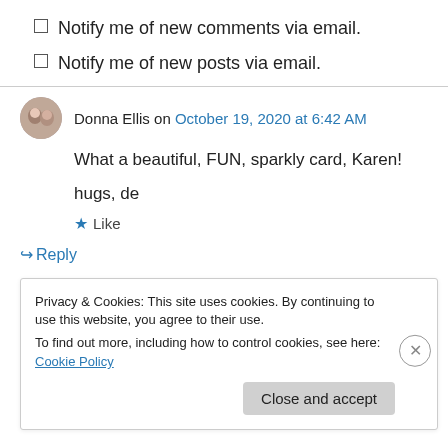Notify me of new comments via email.
Notify me of new posts via email.
Donna Ellis on October 19, 2020 at 6:42 AM
What a beautiful, FUN, sparkly card, Karen!
hugs, de
★ Like
↪ Reply
Privacy & Cookies: This site uses cookies. By continuing to use this website, you agree to their use.
To find out more, including how to control cookies, see here: Cookie Policy
Close and accept